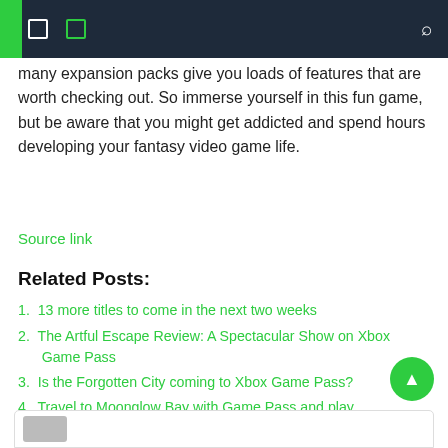Navigation bar with menu icons and search
many expansion packs give you loads of features that are worth checking out. So immerse yourself in this fun game, but be aware that you might get addicted and spend hours developing your fantasy video game life.
Source link
Related Posts:
13 more titles to come in the next two weeks
The Artful Escape Review: A Spectacular Show on Xbox Game Pass
Is the Forgotten City coming to Xbox Game Pass?
Travel to Moonglow Bay with Game Pass and play anywhere on Xbox One and PC